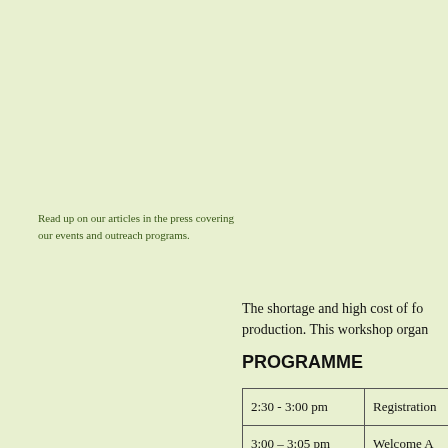Read up on our articles in the press covering our events and outreach programs.
The shortage and high cost of fo production. This workshop organ
PROGRAMME
| 2:30 - 3:00 pm | Registration |
| 3:00 – 3:05 pm | Welcome A |
| 3:05 – 5:30 pm | Biorenewab |